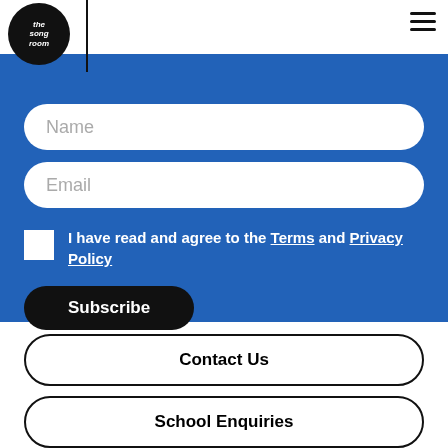[Figure (logo): The Song Room logo — circular black badge with handwritten white text 'the song room']
Name
Email
I have read and agree to the Terms and Privacy Policy
Subscribe
Contact Us
School Enquiries